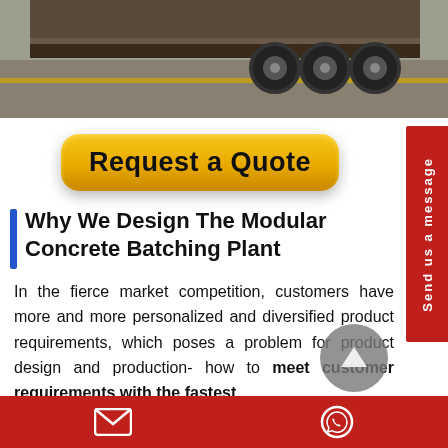[Figure (photo): Photo of the undercarriage/axles of a flatbed truck or trailer on a road, shown from behind.]
[Figure (other): Orange rounded rectangle button with bold black text 'Request a Quote'. A red vertical tab on the right reads 'Send us a message' in white rotated text.]
Why We Design The Modular Concrete Batching Plant
In the fierce market competition, customers have more and more personalized and diversified product requirements, which poses a problem for product design and production- how to meet customer requirements with the fastest
[email icon] [whatsapp icon]